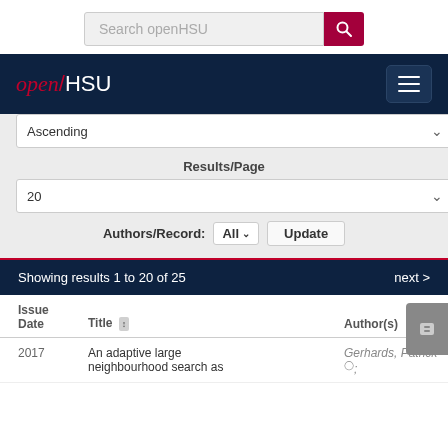[Figure (screenshot): Search bar with 'Search openHSU' placeholder and red search button]
[Figure (screenshot): openHSU navigation bar with logo and hamburger menu]
Ascending
Results/Page
20
Authors/Record: All  Update
Showing results 1 to 20 of 25
next >
| Issue Date | Title | Author(s) |
| --- | --- | --- |
| 2017 | An adaptive large neighbourhood search as | Gerhards, Patrick;  |